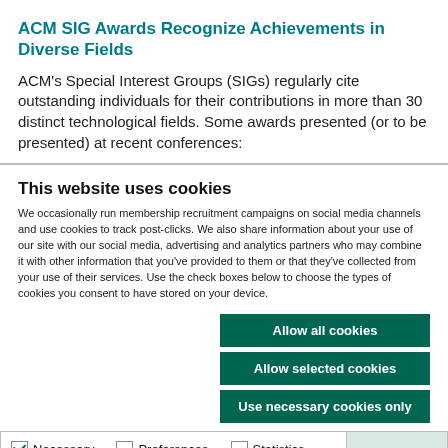ACM SIG Awards Recognize Achievements in Diverse Fields
ACM's Special Interest Groups (SIGs) regularly cite outstanding individuals for their contributions in more than 30 distinct technological fields. Some awards presented (or to be presented) at recent conferences:
This website uses cookies
We occasionally run membership recruitment campaigns on social media channels and use cookies to track post-clicks. We also share information about your use of our site with our social media, advertising and analytics partners who may combine it with other information that you've provided to them or that they've collected from your use of their services. Use the check boxes below to choose the types of cookies you consent to have stored on your device.
Allow all cookies
Allow selected cookies
Use necessary cookies only
Necessary  Preferences  Statistics  Marketing  Show details